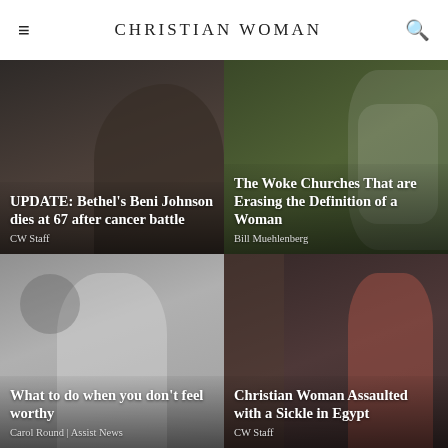CHRISTIAN WOMAN
UPDATE: Bethel's Beni Johnson dies at 67 after cancer battle
CW Staff
The Woke Churches That are Erasing the Definition of a Woman
Bill Muehlenberg
What to do when you don't feel worthy
Carol Round | Assist News
Christian Woman Assaulted with a Sickle in Egypt
CW Staff